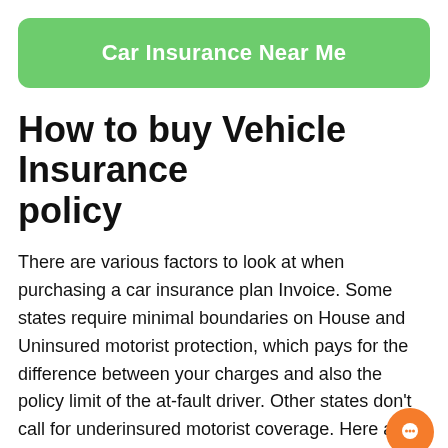Car Insurance Near Me
How to buy Vehicle Insurance policy
There are various factors to look at when purchasing a car insurance plan Invoice. Some states require minimal boundaries on House and Uninsured motorist protection, which pays for the difference between your charges and also the policy limit of the at-fault driver. Other states don't call for underinsured motorist coverage. Here are a few suggestions to assist you shop for the correct insurance plan for your preferences. Hopefully, the following tips is likely to make the procedure a little bit simpler and cons you dollars.